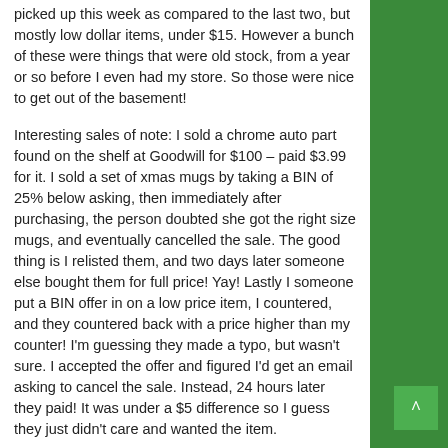picked up this week as compared to the last two, but mostly low dollar items, under $15. However a bunch of these were things that were old stock, from a year or so before I even had my store. So those were nice to get out of the basement!
Interesting sales of note: I sold a chrome auto part found on the shelf at Goodwill for $100 – paid $3.99 for it. I sold a set of xmas mugs by taking a BIN of 25% below asking, then immediately after purchasing, the person doubted she got the right size mugs, and eventually cancelled the sale. The good thing is I relisted them, and two days later someone else bought them for full price! Yay! Lastly I someone put a BIN offer in on a low price item, I countered, and they countered back with a price higher than my counter! I'm guessing they made a typo, but wasn't sure. I accepted the offer and figured I'd get an email asking to cancel the sale. Instead, 24 hours later they paid! It was under a $5 difference so I guess they just didn't care and wanted the item.